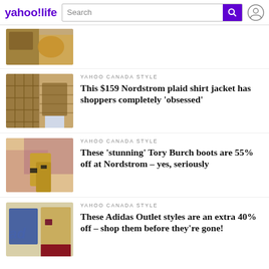yahoo!life | Search
[Figure (photo): Partial image of food/craft items on a table]
[Figure (photo): Plaid shirt jacket product photo]
YAHOO CANADA STYLE
This $159 Nordstrom plaid shirt jacket has shoppers completely 'obsessed'
[Figure (photo): Tory Burch boots product photo]
YAHOO CANADA STYLE
These 'stunning' Tory Burch boots are 55% off at Nordstrom – yes, seriously
[Figure (photo): Two models wearing Adidas Outlet styles]
YAHOO CANADA STYLE
These Adidas Outlet styles are an extra 40% off – shop them before they're gone!